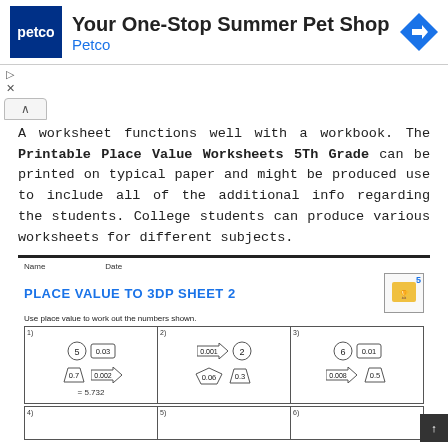[Figure (illustration): Petco advertisement banner with Petco logo, text 'Your One-Stop Summer Pet Shop', 'Petco', and a blue directional arrow icon]
A worksheet functions well with a workbook. The Printable Place Value Worksheets 5Th Grade can be printed on typical paper and might be produced use to include all of the additional info regarding the students. College students can produce various worksheets for different subjects.
[Figure (illustration): Place Value to 3DP Sheet 2 worksheet preview showing a table with place value shapes (circles, pentagons, arrows, trapezoids) representing decimal values. Problem 1 shows shapes for 5, 0.7, 0.03, 0.002 with answer = 5.732. Problems 2 and 3 shown without answers. Problems 4, 5, 6 partially visible at bottom.]